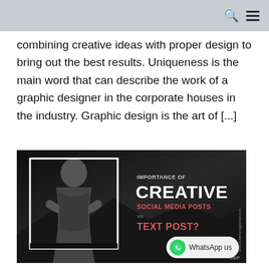combining creative ideas with proper design to bring out the best results. Uniqueness is the main word that can describe the work of a graphic designer in the corporate houses in the industry. Graphic design is the art of [...]
[Figure (photo): Promotional image with a man in a plaid shirt posing inside a white rectangular frame on a dark background. Text on the right reads: IMPORTANCE OF CREATIVE SOCIAL MEDIA POSTS vs TEXT POST? Watermark: www.kuldeepaggarwal.com]
WhatsApp us